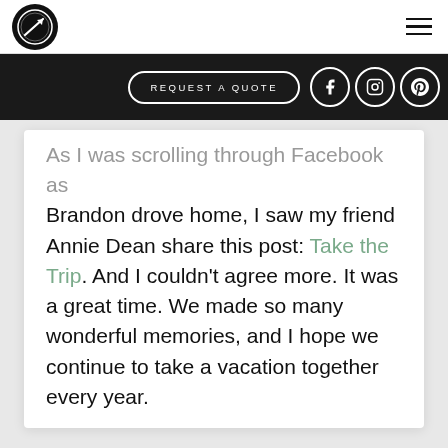[Figure (logo): Circular black logo with a diagonal line/arrow graphic and text around the border]
[Figure (infographic): Hamburger menu icon (three horizontal lines) in top right corner]
[Figure (infographic): Black banner with REQUEST A QUOTE button and Facebook, Instagram, Pinterest social media icons]
As I was scrolling through Facebook as Brandon drove home, I saw my friend Annie Dean share this post: Take the Trip. And I couldn't agree more. It was a great time. We made so many wonderful memories, and I hope we continue to take a vacation together every year.
What happened when your ag family goes on vacation? Share your comments below!